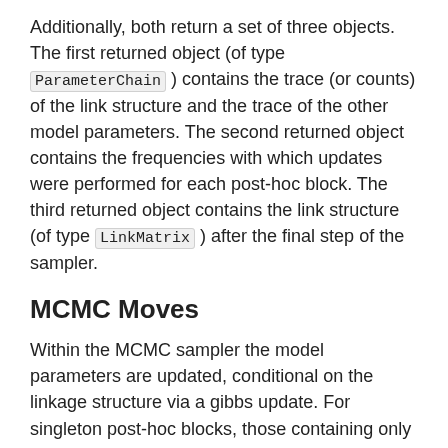Additionally, both return a set of three objects. The first returned object (of type ParameterChain ) contains the trace (or counts) of the link structure and the trace of the other model parameters. The second returned object contains the frequencies with which updates were performed for each post-hoc block. The third returned object contains the link structure (of type LinkMatrix ) after the final step of the sampler.
MCMC Moves
Within the MCMC sampler the model parameters are updated, conditional on the linkage structure via a gibbs update. For singleton post-hoc blocks, those containing only a single record pair, a gibbs update to the linkage structure within the block is also